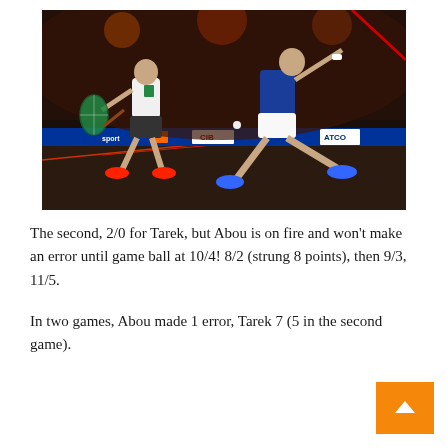[Figure (photo): Two squash players on a glass-walled court during a match. The player on the right wears a blue shirt and white shorts, lunging forward with a racket. The player on the left wears white shirt and dark shorts. Court sponsor banners visible including CIB and ATCO logos.]
The second, 2/0 for Tarek, but Abou is on fire and won't make an error until game ball at 10/4! 8/2 (strung 8 points), then 9/3, 11/5.
In two games, Abou made 1 error, Tarek 7 (5 in the second game).